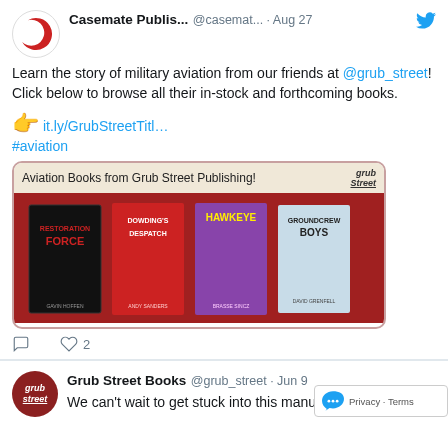Casemate Publis... @casemat... · Aug 27
Learn the story of military aviation from our friends at @grub_street! Click below to browse all their in-stock and forthcoming books.
👉 it.ly/GrubStreetTitl... #aviation
[Figure (illustration): Banner image showing Aviation Books from Grub Street Publishing with four book covers: Restoration Force by Gavin Hoffen, Dowding's Despatch by Andy Sanders, Hawkeye, and Groundcrew Boys by David Grenfell]
2 likes
Grub Street Books @grub_street · Jun 9
We can't wait to get stuck into this manuscr